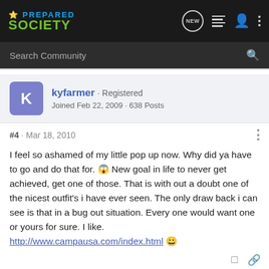[Figure (screenshot): Prepared Society forum website navigation bar with logo, NEW button, list icon, user icon, and dots menu]
Search Community
kyfarmer · Registered
Joined Feb 22, 2009 · 638 Posts
#4 · Mar 18, 2010
I feel so ashamed of my little pop up now. Why did ya have to go and do that for. 😱 New goal in life to never get achieved, get one of those. That is with out a doubt one of the nicest outfit's i have ever seen. The only draw back i can see is that in a bug out situation. Every one would want one or yours for sure. I like. http://www.campausa.com/index.html 😀